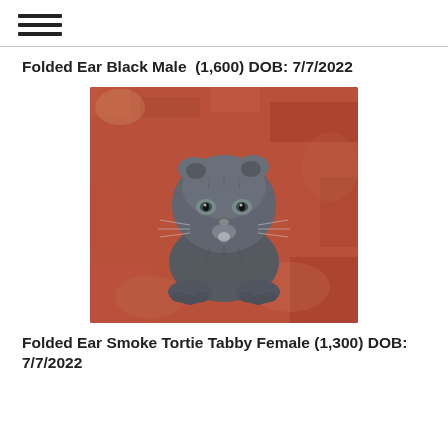☰
Folded Ear Black Male  (1,600) DOB: 7/7/2022
[Figure (photo): A small gray Scottish Fold kitten with folded ears sitting on a red/orange woven textile background, looking at the camera.]
Folded Ear Smoke Tortie Tabby Female (1,300) DOB: 7/7/2022